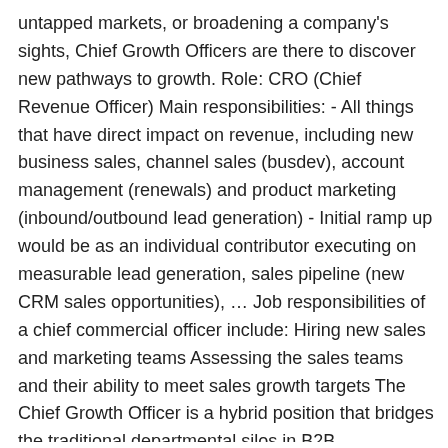untapped markets, or broadening a company's sights, Chief Growth Officers are there to discover new pathways to growth. Role: CRO (Chief Revenue Officer) Main responsibilities: - All things that have direct impact on revenue, including new business sales, channel sales (busdev), account management (renewals) and product marketing (inbound/outbound lead generation) - Initial ramp up would be as an individual contributor executing on measurable lead generation, sales pipeline (new CRM sales opportunities), … Job responsibilities of a chief commercial officer include: Hiring new sales and marketing teams Assessing the sales teams and their ability to meet sales growth targets The Chief Growth Officer is a hybrid position that bridges the traditional departmental silos in B2B organizations such as business development, sales, marketing, operations, and information technology. I was a Chief Revenue Officer for a successful, venture-backed SaaS company for about 16 months after spending most of my career as a CEO. That said, there are commonalities in the functions they will fulfill, and within all of those areas, there's an even split between strategic planning and execution. Increased ASP by 29%